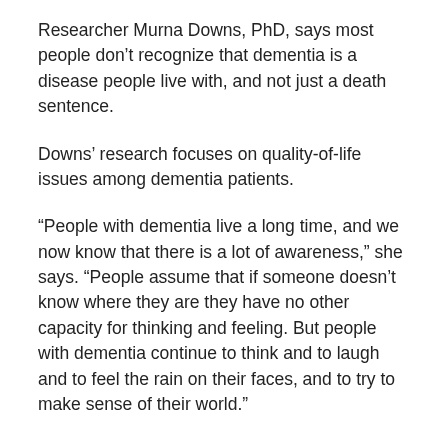Researcher Murna Downs, PhD, says most people don't recognize that dementia is a disease people live with, and not just a death sentence.
Downs' research focuses on quality-of-life issues among dementia patients.
“People with dementia live a long time, and we now know that there is a lot of awareness,” she says. “People assume that if someone doesn’t know where they are they have no other capacity for thinking and feeling. But people with dementia continue to think and to laugh and to feel the rain on their faces, and to try to make sense of their world.”